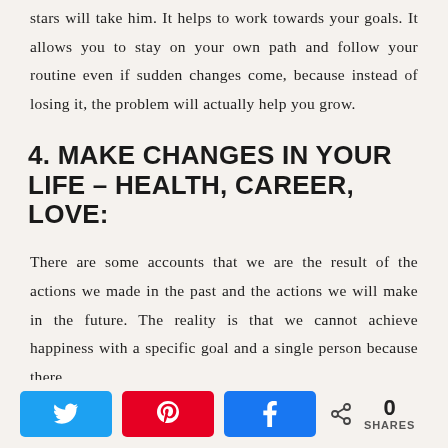stars will take him. It helps to work towards your goals. It allows you to stay on your own path and follow your routine even if sudden changes come, because instead of losing it, the problem will actually help you grow.
4. MAKE CHANGES IN YOUR LIFE – HEALTH, CAREER, LOVE:
There are some accounts that we are the result of the actions we made in the past and the actions we will make in the future. The reality is that we cannot achieve happiness with a specific goal and a single person because there
[Figure (infographic): Social sharing bar with Twitter, Pinterest, and Facebook share buttons, plus a share count showing 0 SHARES]